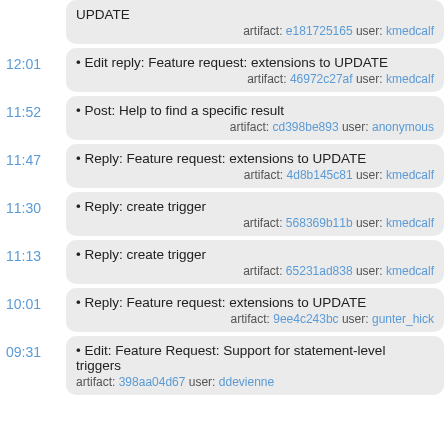UPDATE  artifact: e181725165 user: kmedcalf
12:01 • Edit reply: Feature request: extensions to UPDATE  artifact: 46972c27af user: kmedcalf
11:52 • Post: Help to find a specific result  artifact: cd398be893 user: anonymous
11:47 • Reply: Feature request: extensions to UPDATE  artifact: 4d8b145c81 user: kmedcalf
11:30 • Reply: create trigger  artifact: 568369b11b user: kmedcalf
11:13 • Reply: create trigger  artifact: 65231ad838 user: kmedcalf
10:01 • Reply: Feature request: extensions to UPDATE  artifact: 9ee4c243bc user: gunter_hick
09:31 • Edit: Feature Request: Support for statement-level triggers  artifact: 398aa04d67 user: ddevienne